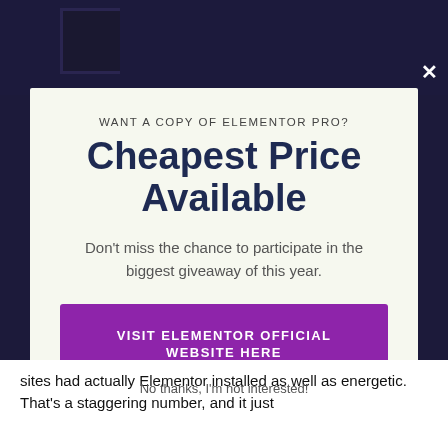[Figure (screenshot): Dark background with partial logo/header visible at top]
WANT A COPY OF ELEMENTOR PRO?
Cheapest Price Available
Don't miss the chance to participate in the biggest giveaway of this year.
VISIT ELEMENTOR OFFICIAL WEBSITE HERE 👈
sites had actually Elementor installed as well as energetic. That's a staggering number, and it just
No thanks, I'm not interested!